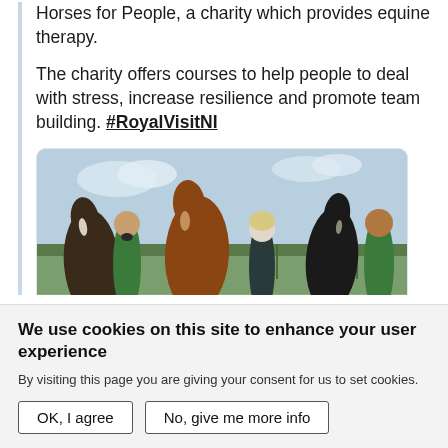Horses for People, a charity which provides equine therapy.
The charity offers courses to help people to deal with stress, increase resilience and promote team building. #RoyalVisitNI
[Figure (photo): Group of people standing with three horses outdoors at a farm. Two people in green jackets on the left and right, a woman in a dark jacket in the centre, with brown and black horses.]
We use cookies on this site to enhance your user experience
By visiting this page you are giving your consent for us to set cookies.
OK, I agree
No, give me more info